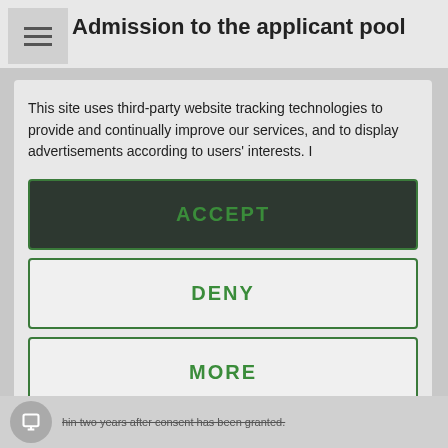Admission to the applicant pool
This site uses third-party website tracking technologies to provide and continually improve our services, and to display advertisements according to users' interests. I
[Figure (screenshot): ACCEPT button - dark background with green border and green bold text]
[Figure (screenshot): DENY button - light background with green border and green bold text]
[Figure (screenshot): MORE button - light background with green border and green bold text]
Powered by usercentrics & eRecht24
...hin two years after consent has been granted.